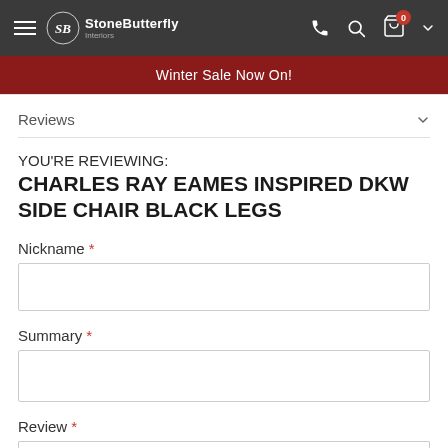StoneButterfly — Navigation bar with hamburger menu, logo, phone, search, cart (0) icons
Winter Sale Now On!
Reviews
YOU'RE REVIEWING:
CHARLES RAY EAMES INSPIRED DKW SIDE CHAIR BLACK LEGS
Nickname *
Summary *
Review *